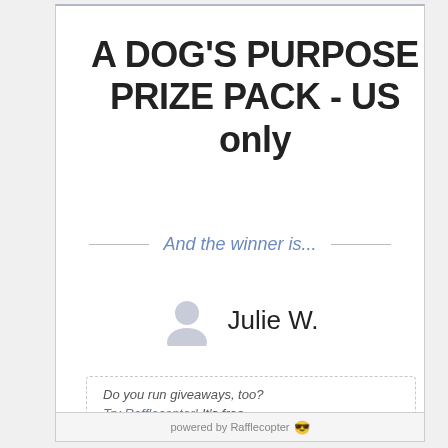A DOG'S PURPOSE PRIZE PACK - US only
And the winner is...
Julie W.
Do you run giveaways, too? Try Rafflecopter! It's free.
powered by Rafflecopter